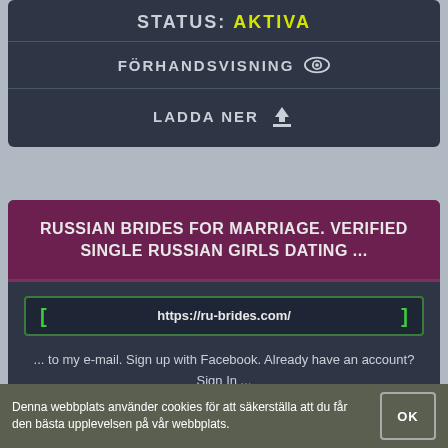STATUS: AKTIVA
FÖRHANDSVISNING
LADDA NER
RUSSIAN BRIDES FOR MARRIAGE. VERIFIED SINGLE RUSSIAN GIRLS DATING ...
https://ru-brides.com/
... to my e-mail. Sign up with Facebook. Already have an account? Sign In ... They're incredibly beautiful, and you can check out hot Russian brides photos on ...
STATUS: AKTIVA
Denna webbplats använder cookies för att säkerställa att du får den bästa upplevelsen på vår webbplats.